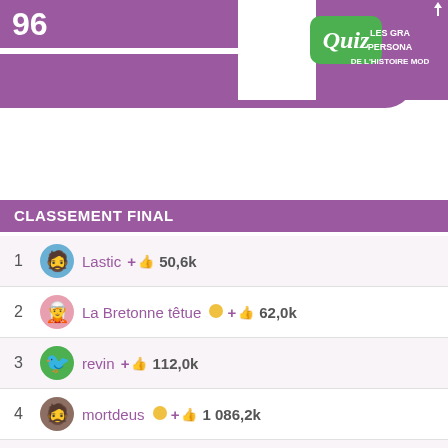96
[Figure (logo): Quiz logo badge (green rounded rectangle with 'Quiz' in white italic) and partial text 'LES GRA PERSONA DE L'HISTOIRE MOD']
CLASSEMENT FINAL
1  Lastic + 👍 50,6k
2  La Bretonne têtue 🟡 + 👍 62,0k
3  revin + 👍 112,0k
4  mortdeus 🟡 + 👍 1 086,2k
5  zeze80 🟡 + 👍 271,0k
6  DrDolie 🟡 + 👍 80,4k
7  Seb76290 🟡 + 👍 116,5k
8  PCduPC 🟡 + 👍 259,2k